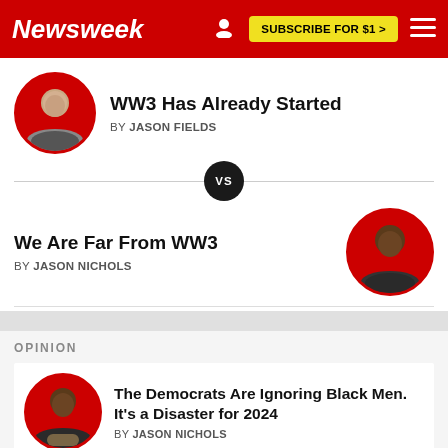Newsweek | SUBSCRIBE FOR $1 >
WW3 Has Already Started
BY JASON FIELDS
VS
We Are Far From WW3
BY JASON NICHOLS
OPINION
The Democrats Are Ignoring Black Men. It's a Disaster for 2024
BY JASON NICHOLS
Monkeypox Must Not Be Another COVID-19 for